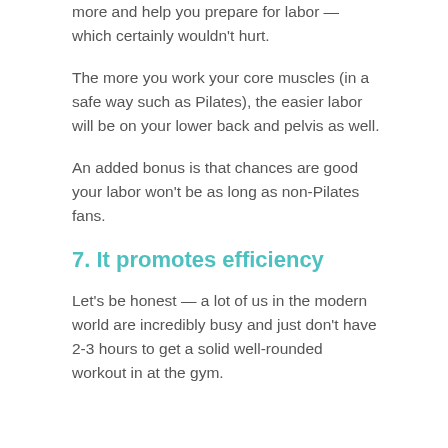more and help you prepare for labor — which certainly wouldn't hurt.
The more you work your core muscles (in a safe way such as Pilates), the easier labor will be on your lower back and pelvis as well.
An added bonus is that chances are good your labor won't be as long as non-Pilates fans.
7. It promotes efficiency
Let's be honest — a lot of us in the modern world are incredibly busy and just don't have 2-3 hours to get a solid well-rounded workout in at the gym.